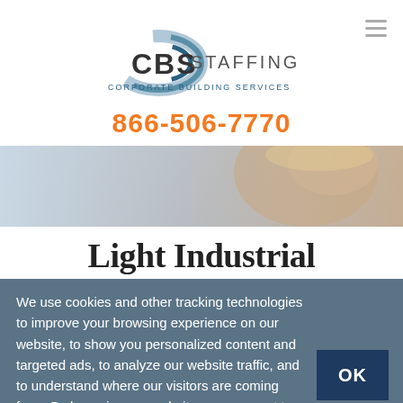[Figure (logo): CBS Staffing logo with circular blue swoosh graphic and text 'CBS STAFFING' and 'CORPORATE BUILDING SERVICES' below]
866-506-7770
[Figure (photo): Faded/blurred hero banner image showing a person wearing a hard hat, light industrial worker]
Light Industrial
We use cookies and other tracking technologies to improve your browsing experience on our website, to show you personalized content and targeted ads, to analyze our website traffic, and to understand where our visitors are coming from. By browsing our website, you consent to our use of cookies and other tracking technologies.